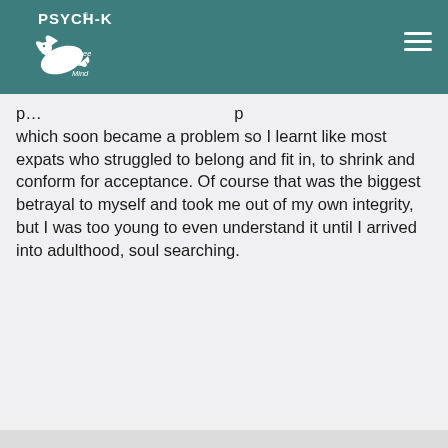[Figure (logo): PSYCH-K logo with a white dove and text 'Free Your Mind' on a teal background]
which soon became a problem so I learnt like most expats who struggled to belong and fit in, to shrink and conform for acceptance. Of course that was the biggest betrayal to myself and took me out of my own integrity, but I was too young to even understand it until I arrived into adulthood, soul searching.